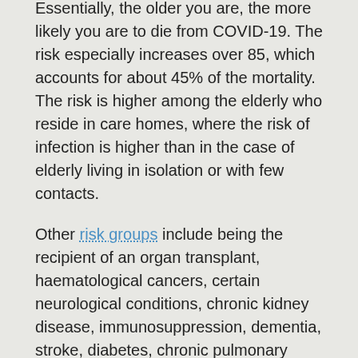Essentially, the older you are, the more likely you are to die from COVID-19. The risk especially increases over 85, which accounts for about 45% of the mortality. The risk is higher among the elderly who reside in care homes, where the risk of infection is higher than in the case of elderly living in isolation or with few contacts.
Other risk groups include being the recipient of an organ transplant, haematological cancers, certain neurological conditions, chronic kidney disease, immunosuppression, dementia, stroke, diabetes, chronic pulmonary disease, obesity, malignancy, liver disease.
Implicit in the idea of prioritising care home residents and workers, as well as health care workers is that this will significantly reduce infections among those at